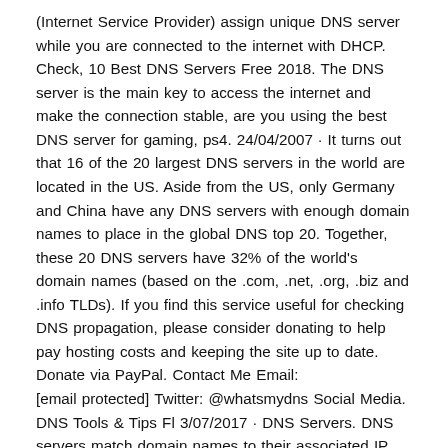(Internet Service Provider) assign unique DNS server while you are connected to the internet with DHCP. Check, 10 Best DNS Servers Free 2018. The DNS server is the main key to access the internet and make the connection stable, are you using the best DNS server for gaming, ps4. 24/04/2007 · It turns out that 16 of the 20 largest DNS servers in the world are located in the US. Aside from the US, only Germany and China have any DNS servers with enough domain names to place in the global DNS top 20. Together, these 20 DNS servers have 32% of the world's domain names (based on the .com, .net, .org, .biz and .info TLDs). If you find this service useful for checking DNS propagation, please consider donating to help pay hosting costs and keeping the site up to date. Donate via PayPal. Contact Me Email: [email protected] Twitter: @whatsmydns Social Media. DNS Tools & Tips Fl 3/07/2017 · DNS Servers. DNS servers match domain names to their associated IP addresses. When you type a domain name into your browser, your computer contacts your current DNS server and asks